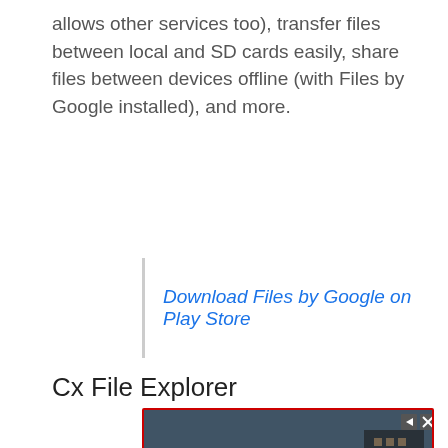allows other services too), transfer files between local and SD cards easily, share files between devices offline (with Files by Google installed), and more.
Download Files by Google on Play Store
Cx File Explorer
[Figure (screenshot): Advertisement banner showing a hotel image with text 'Your next hotel is waiting for you' with play and close buttons]